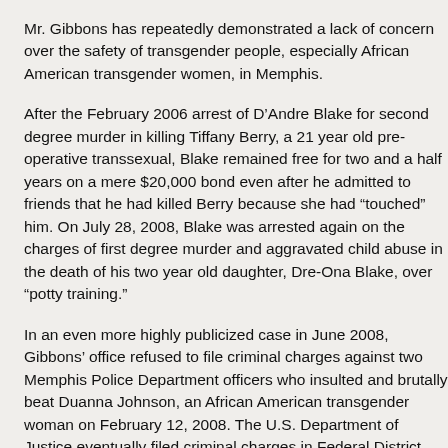Mr. Gibbons has repeatedly demonstrated a lack of concern over the safety of transgender people, especially African American transgender women, in Memphis.
After the February 2006 arrest of D’Andre Blake for second degree murder in killing Tiffany Berry, a 21 year old pre-operative transsexual, Blake remained free for two and a half years on a mere $20,000 bond even after he admitted to friends that he had killed Berry because she had “touched” him. On July 28, 2008, Blake was arrested again on the charges of first degree murder and aggravated child abuse in the death of his two year old daughter, Dre-Ona Blake, over “potty training.”
In an even more highly publicized case in June 2008, Gibbons’ office refused to file criminal charges against two Memphis Police Department officers who insulted and brutally beat Duanna Johnson, an African American transgender woman on February 12, 2008. The U.S. Department of Justice eventually filed criminal charges in Federal District Court of West Tennessee against Officer Bridges McRae, but Gibbons’ Office has still refused to take any criminal action in the case on behalf of the state.
Mr. Gibbons’ indifference to the safety of transgender people in Memphis has contributed to the perception that Memphis may be the most dangerous city in the country for transgender people.
Now, he will be responsible for the safety of all transgender people across the entire state.